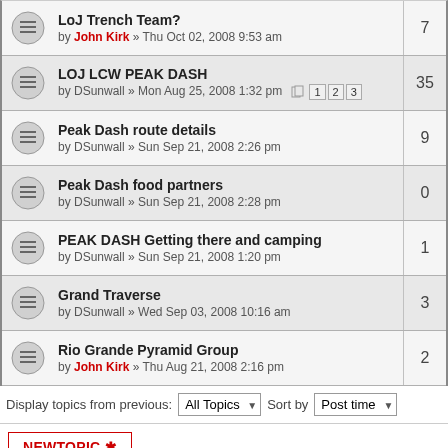LoJ Trench Team? by John Kirk » Thu Oct 02, 2008 9:53 am — 7 replies
LOJ LCW PEAK DASH by DSunwall » Mon Aug 25, 2008 1:32 pm — 35 replies
Peak Dash route details by DSunwall » Sun Sep 21, 2008 2:26 pm — 9 replies
Peak Dash food partners by DSunwall » Sun Sep 21, 2008 2:28 pm — 0 replies
PEAK DASH Getting there and camping by DSunwall » Sun Sep 21, 2008 1:20 pm — 1 reply
Grand Traverse by DSunwall » Wed Sep 03, 2008 10:16 am — 3 replies
Rio Grande Pyramid Group by John Kirk » Thu Aug 21, 2008 2:16 pm — 2 replies
Display topics from previous: All Topics Sort by Post time
NEW TOPIC
Return to Board index
Jump to:
WHO IS ONLINE
Users browsing this forum: No registered users and 1 guest